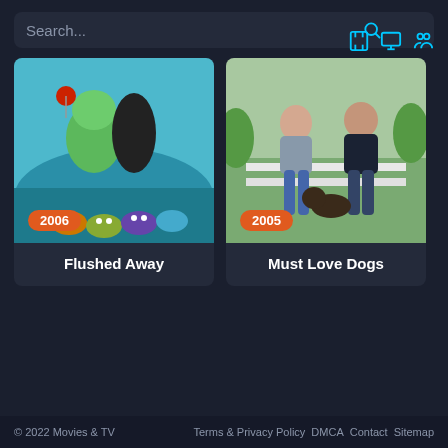Search...
[Figure (screenshot): Movie card for Flushed Away (2006) - animated movie poster showing cartoon characters surfing]
Flushed Away
[Figure (screenshot): Movie card for Must Love Dogs (2005) - movie poster showing two people sitting on a park bench]
Must Love Dogs
© 2022 Movies & TV   Terms & Privacy Policy DMCA Contact Sitemap